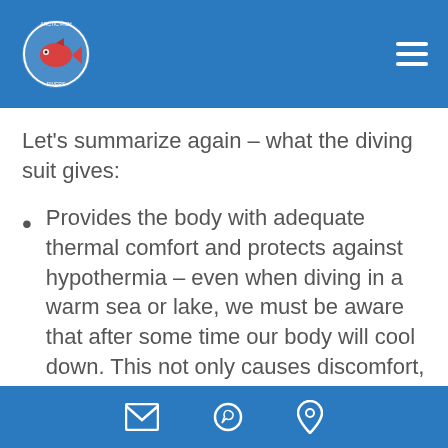Arctic Fish Divers logo and navigation
Let's summarize again – what the diving suit gives:
Provides the body with adequate thermal comfort and protects against hypothermia – even when diving in a warm sea or lake, we must be aware that after some time our body will cool down. This not only causes discomfort, but can also lead to health consequences such as
Email | WhatsApp | Location